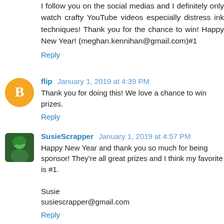I follow you on the social medias and I definitely only watch crafty YouTube videos especially distress ink techniques! Thank you for the chance to win! Happy New Year! (meghan.kennihan@gmail.com)#1
Reply
flip  January 1, 2019 at 4:39 PM
Thank you for doing this! We love a chance to win prizes.
Reply
SusieScrapper  January 1, 2019 at 4:57 PM
Happy New Year and thank you so much for being sponsor! They're all great prizes and I think my favorite is #1.

Susie
susiescrapper@gmail.com
Reply